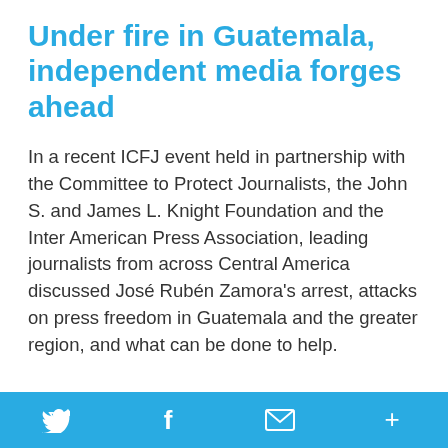Under fire in Guatemala, independent media forges ahead
In a recent ICFJ event held in partnership with the Committee to Protect Journalists, the John S. and James L. Knight Foundation and the Inter American Press Association, leading journalists from across Central America discussed José Rubén Zamora's arrest, attacks on press freedom in Guatemala and the greater region, and what can be done to help.
As the War Against Ukraine Rages On, ICFJ Helps Media Provide Vital News
Twitter  Facebook  Email  More